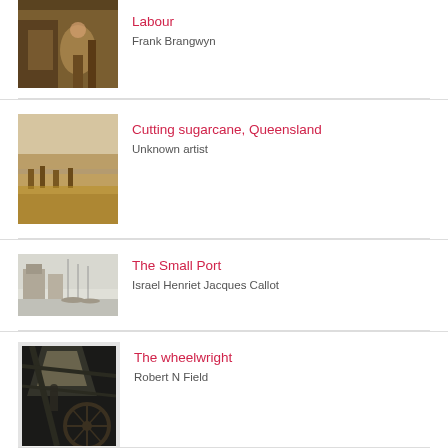[Figure (photo): Partial artwork thumbnail for 'Labour' by Frank Brangwyn, showing figures in a warm-toned interior scene]
Labour
Frank Brangwyn
[Figure (photo): Sepia-toned artwork thumbnail for 'Cutting sugarcane, Queensland', showing a field scene]
Cutting sugarcane, Queensland
Unknown artist
[Figure (photo): Black and white etching thumbnail for 'The Small Port' by Israel Henriet Jacques Callot, showing a harbour scene]
The Small Port
Israel Henriet Jacques Callot
[Figure (photo): Black and white artwork thumbnail for 'The wheelwright' by Robert N Field, showing an interior workshop scene with dark tones]
The wheelwright
Robert N Field